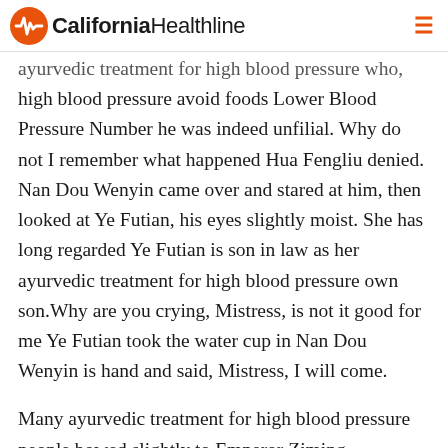California Healthline
ayurvedic treatment for high blood pressure who, high blood pressure avoid foods Lower Blood Pressure Number he was indeed unfilial. Why do not I remember what happened Hua Fengliu denied. Nan Dou Wenyin came over and stared at him, then looked at Ye Futian, his eyes slightly moist. She has long regarded Ye Futian is son in law as her ayurvedic treatment for high blood pressure own son.Why are you crying, Mistress, is not it good for me Ye Futian took the water cup in Nan Dou Wenyin is hand and said, Mistress, I will come.
Many ayurvedic treatment for high blood pressure people bowed slightly to Emperor Ziming,